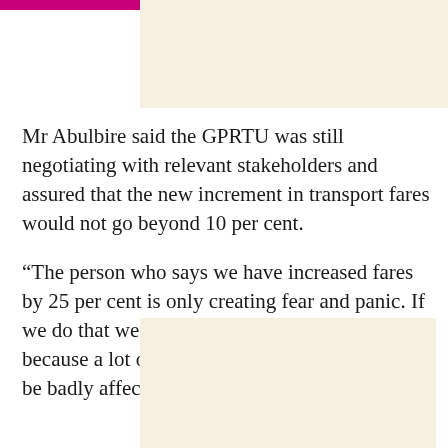[Figure (other): Advertisement placeholder box at top of page with beige/cream background]
Mr Abulbire said the GPRTU was still negotiating with relevant stakeholders and assured that the new increment in transport fares would not go beyond 10 per cent.
“The person who says we have increased fares by 25 per cent is only creating fear and panic. If we do that we are going to risk our business because a lot of people, especially students will be badly affected.
[Figure (other): Advertisement placeholder box at bottom of page with beige/cream background]